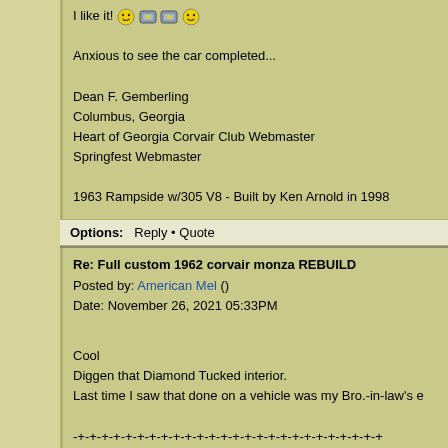I like it! [emoji][emoji][emoji][emoji]

Anxious to see the car completed...

Dean F. Gemberling
Columbus, Georgia
Heart of Georgia Corvair Club Webmaster
Springfest Webmaster

1963 Rampside w/305 V8 - Built by Ken Arnold in 1998
Options: Reply • Quote
Re: Full custom 1962 corvair monza REBUILD
Posted by: American Mel ()
Date: November 26, 2021 05:33PM

Cool
Diggen that Diamond Tucked interior.
Last time I saw that done on a vehicle was my Bro.-in-law's e

-+-+-+-+-+-+-+-+-+-+-+-+-+-+-+-+-+-+-+-+-+-+-+-+-+-+
WA. state, 1 mile south of the Canadian border, I am not at th
Options: Reply • Quote
Re: Full custom 1962 corvair monza REBUILD
Posted by: milton ()
Date: December 02, 2021 04:22PM